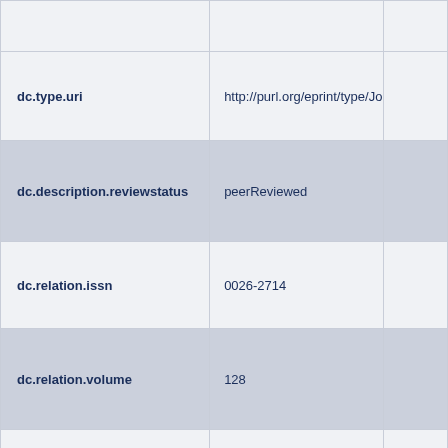| Field | Value |  |
| --- | --- | --- |
| dc.type.uri | http://purl.org/eprint/type/Journa |  |
| dc.description.reviewstatus | peerReviewed |  |
| dc.relation.issn | 0026-2714 |  |
| dc.relation.volume | 128 |  |
| dc.type.version | publishedVersion |  |
| dc.rights.copyright | © 2021 The Authors. Published by Elsevier Ltd. |  |